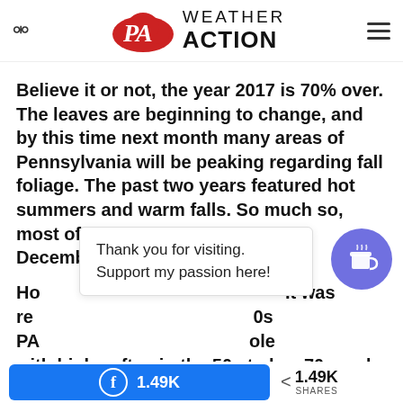PA Weather Action
Believe it or not, the year 2017 is 70% over. The leaves are beginning to change, and by this time next month many areas of Pennsylvania will be peaking regarding fall foliage. The past two years featured hot summers and warm falls. So much so, most of us have not seen snow in December since 2014.
Ho[vered]... It was re[latively]... 0s PA [whole] with highs often in the 50s to low 70s and lows in the
Thank you for visiting. Support my passion here!
1.49K  < 1.49K SHARES